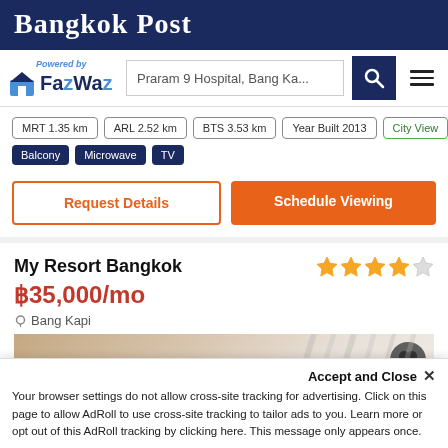Bangkok Post
[Figure (logo): FazWaz logo with house icon and 'Powered by FazWaz' text in blue]
Praram 9 Hospital, Bang Ka...
MRT 1.35 km
ARL 2.52 km
BTS 3.53 km
Year Built 2013
City View
Balcony
Microwave
TV
Request Details
Schedule Viewing
My Resort Bangkok
฿35,000/mo
Bang Kapi
[Figure (photo): Interior photo of a room with curtains and tan/beige tones]
Accept and Close ✕
Your browser settings do not allow cross-site tracking for advertising. Click on this page to allow AdRoll to use cross-site tracking to tailor ads to you. Learn more or opt out of this AdRoll tracking by clicking here. This message only appears once.